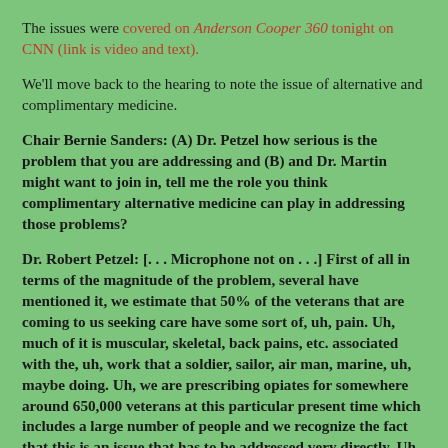The issues were covered on Anderson Cooper 360 tonight on CNN (link is video and text).
We'll move back to the hearing to note the issue of alternative and complimentary medicine.
Chair Bernie Sanders:  (A) Dr. Petzel how serious is the problem that you are addressing and (B) and Dr. Martin might want to join in, tell me the role you think complimentary alternative medicine can play in addressing those problems?
Dr. Robert Petzel: [. . . Microphone not on . . .] First of all in terms of the magnitude of the problem, several have mentioned it, we estimate that 50% of the veterans that are coming to us seeking care have some sort of, uh, pain. Uh, much of it is muscular, skeletal, back pains, etc. associated with the, uh, work that a soldier, sailor, air man, marine, uh, maybe doing.  Uh, we are prescribing opiates for somewhere around 650,000 veterans at this particular present time which includes a large number of people and we recognize the fact that this is an issue that has to be addressed very directly.  Uh, I would like to just take a minute before I turn to the, uh, other panel